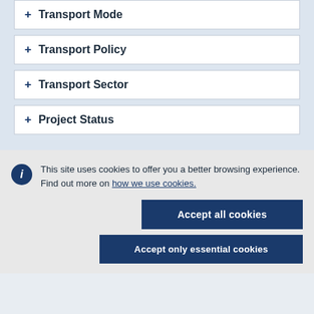+ Transport Mode
+ Transport Policy
+ Transport Sector
+ Project Status
This site uses cookies to offer you a better browsing experience. Find out more on how we use cookies.
Accept all cookies
Accept only essential cookies